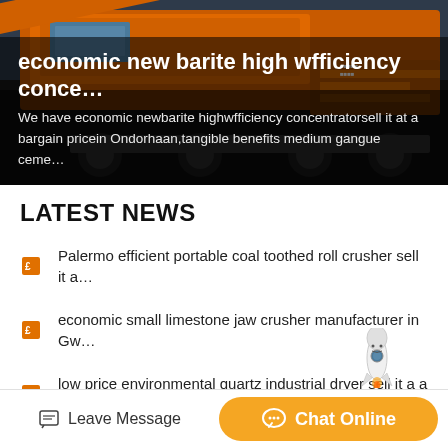[Figure (photo): Large orange industrial mining/construction machine (conveyor or crusher equipment) on a dark background, with hero overlay text]
economic new barite high wfficiency conce…
We have economic newbarite highwfficiency concentratorsell it at a bargain pricein Ondorhaan,tangible benefits medium gangue ceme…
LATEST NEWS
Palermo efficient portable coal toothed roll crusher sell it a…
economic small limestone jaw crusher manufacturer in Gw…
low price environmental quartz industrial dryer sell it a a …
Leave Message   Chat Online